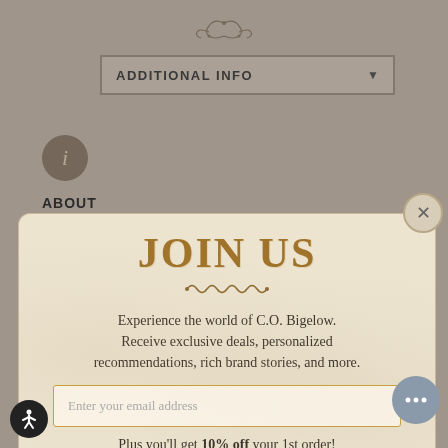[Figure (screenshot): Website page background with tan/beige color showing ornamental top decoration]
ADDITIONAL INFO ▼
[Figure (infographic): Info icon circle with italic i]
ABOUT
Bo... Pl...
JOIN US
Experience the world of C.O. Bigelow. Receive exclusive deals, personalized recommendations, rich brand stories, and more.
Enter your email address
Plus you'll get 10% off your 1st order!